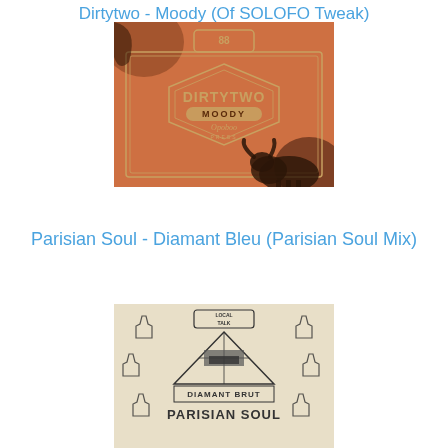Dirtytwo - Moody (Of SOLOFO Tweak)
[Figure (illustration): Album cover for Dirtytwo - Moody on Opoboo Records. Orange/brown vintage textured background with ornate badge design reading DIRTYTWO MOODY Opoboo in retro typography. Dark silhouette of a bull/bison in lower right corner.]
Parisian Soul - Diamant Bleu (Parisian Soul Mix)
[Figure (illustration): Album cover for Parisian Soul - Diamant Brut on Local Talk Records. Beige/cream background with geometric tent/pyramid design. LOCAL TALK logo at top, DIAMANT BRUT in the middle, PARISIAN SOUL at bottom. Symmetrical bottle/flask icons arranged around the central design.]